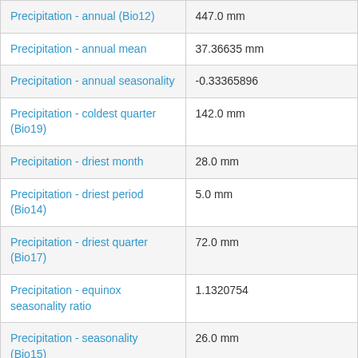| Precipitation - annual (Bio12) | 447.0 mm |
| Precipitation - annual mean | 37.36635 mm |
| Precipitation - annual seasonality | -0.33365896 |
| Precipitation - coldest quarter (Bio19) | 142.0 mm |
| Precipitation - driest month | 28.0 mm |
| Precipitation - driest period (Bio14) | 5.0 mm |
| Precipitation - driest quarter (Bio17) | 72.0 mm |
| Precipitation - equinox seasonality ratio | 1.1320754 |
| Precipitation - seasonality (Bio15) | 26.0 mm |
| Precipitation - spring or autumn season | 0.13084112 |